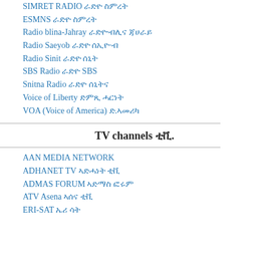SIMRET RADIO  ራድዮ ስምረት
ESMNS  ራድዮ ስምረት
Radio blina-Jahray ራድዮ-ብሊና ጃሀራይ
Radio Saeyob  ራድዮ ሰኢዮ·ብ
Radio Sinit ራድዮ ሰኒት
SBS Radio  ራድዮ SBS
Snitna Radio  ራድዮ ሰኒትና
Voice of Liberty  ድምጺ ሓርነት
VOA (Voice of America) ድ.ኣመሪካ
TV channels ቲቪ.
AAN MEDIA NETWORK
ADHANET TV  ኣድሓነት ቲቪ
ADMAS FORUM ኣድማስ ፎሩም
ATV Asena ኣሰና ቲቪ
ERI-SAT ኤሪ ሳት